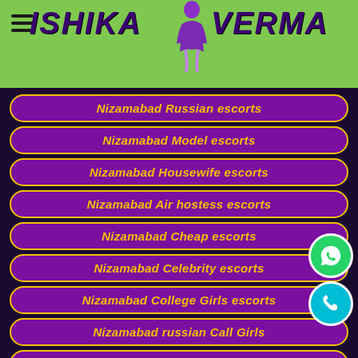ISHIKA VERMA
Nizamabad Russian escorts
Nizamabad Model escorts
Nizamabad Housewife escorts
Nizamabad Air hostess escorts
Nizamabad Cheap escorts
Nizamabad Celebrity escorts
Nizamabad College Girls escorts
Nizamabad russian Call Girls
Nizamabad Dating Escorts